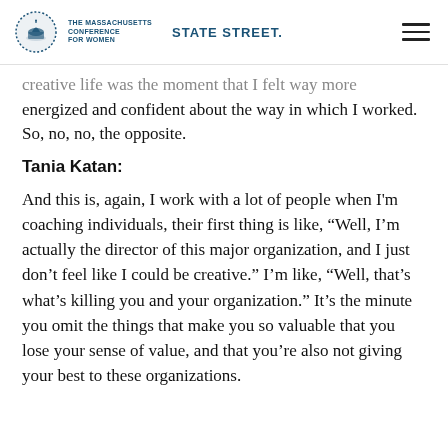THE MASSACHUSETTS CONFERENCE FOR WOMEN | STATE STREET.
creative life was the moment that I felt way more energized and confident about the way in which I worked. So, no, no, the opposite.
Tania Katan:
And this is, again, I work with a lot of people when I'm coaching individuals, their first thing is like, “Well, I’m actually the director of this major organization, and I just don’t feel like I could be creative.” I’m like, “Well, that’s what’s killing you and your organization.” It’s the minute you omit the things that make you so valuable that you lose your sense of value, and that you’re also not giving your best to these organizations.